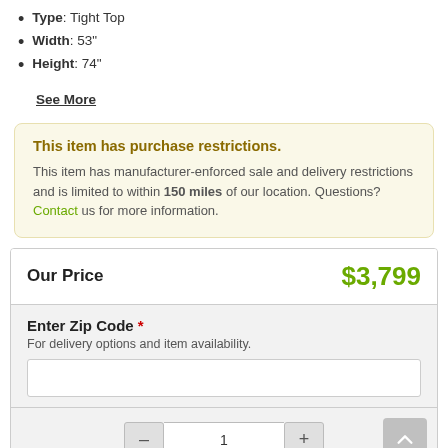Type: Tight Top
Width: 53"
Height: 74"
See More
This item has purchase restrictions. This item has manufacturer-enforced sale and delivery restrictions and is limited to within 150 miles of our location. Questions? Contact us for more information.
| Our Price | $3,799 |
| --- | --- |
Enter Zip Code * For delivery options and item availability.